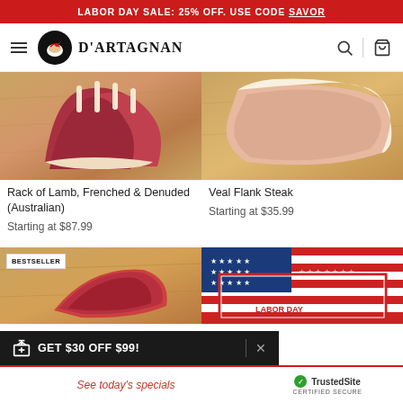LABOR DAY SALE: 25% OFF. USE CODE SAVOR
[Figure (screenshot): D'Artagnan website navigation bar with hamburger menu, logo (duck illustration with D'Artagnan text), and search/cart icons]
[Figure (photo): Rack of Lamb, Frenched & Denuded (Australian) — raw lamb chops on wooden cutting board]
Rack of Lamb, Frenched & Denuded (Australian)
Starting at $87.99
[Figure (photo): Veal Flank Steak — raw veal flank steak on wooden cutting board]
Veal Flank Steak
Starting at $35.99
[Figure (photo): Product image with BESTSELLER badge — raw meat on wooden surface]
[Figure (photo): Labor Day themed product box with red, white and blue patriotic design and stars]
GET $30 OFF $99!
See today's specials
TrustedSite CERTIFIED SECURE